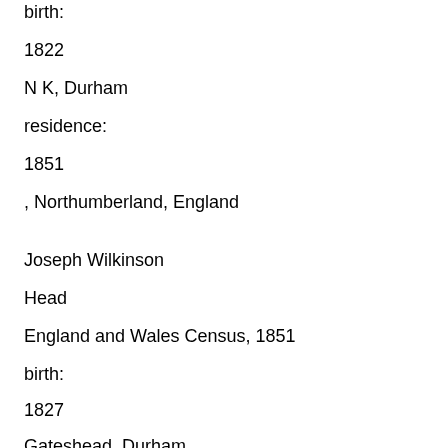birth:
1822
N K, Durham
residence:
1851
, Northumberland, England
Joseph Wilkinson
Head
England and Wales Census, 1851
birth:
1827
Gateshead, Durham